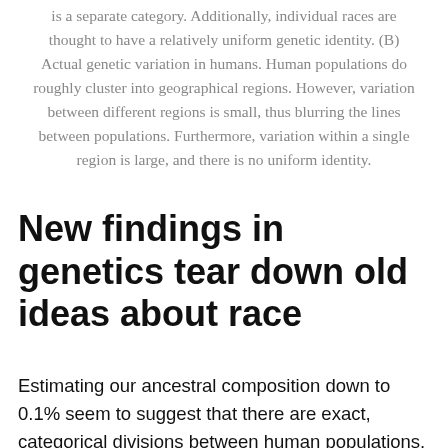is a separate category. Additionally, individual races are thought to have a relatively uniform genetic identity. (B) Actual genetic variation in humans. Human populations do roughly cluster into geographical regions. However, variation between different regions is small, thus blurring the lines between populations. Furthermore, variation within a single region is large, and there is no uniform identity.
New findings in genetics tear down old ideas about race
Estimating our ancestral composition down to 0.1% seem to suggest that there are exact, categorical divisions between human populations. But reality is far less simple. Compared to the general public's enthusiasm for ancestry testing, the reaction from scientists has been considerably